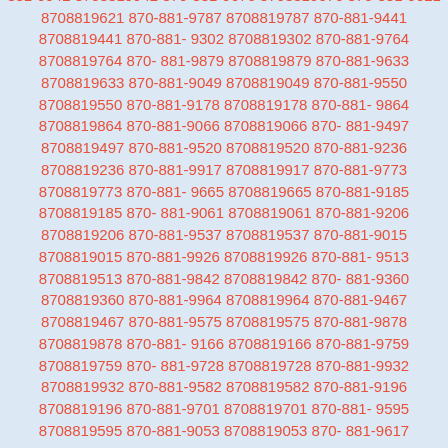881-9942 8708819942 870-881-9676 8708819676 870-881-9621 8708819621 870-881-9787 8708819787 870-881-9441 8708819441 870-881-9302 8708819302 870-881-9764 8708819764 870-881-9879 8708819879 870-881-9633 8708819633 870-881-9049 8708819049 870-881-9550 8708819550 870-881-9178 8708819178 870-881-9864 8708819864 870-881-9066 8708819066 870-881-9497 8708819497 870-881-9520 8708819520 870-881-9236 8708819236 870-881-9917 8708819917 870-881-9773 8708819773 870-881-9665 8708819665 870-881-9185 8708819185 870-881-9061 8708819061 870-881-9206 8708819206 870-881-9537 8708819537 870-881-9015 8708819015 870-881-9926 8708819926 870-881-9513 8708819513 870-881-9842 8708819842 870-881-9360 8708819360 870-881-9964 8708819964 870-881-9467 8708819467 870-881-9575 8708819575 870-881-9878 8708819878 870-881-9166 8708819166 870-881-9759 8708819759 870-881-9728 8708819728 870-881-9932 8708819932 870-881-9582 8708819582 870-881-9196 8708819196 870-881-9701 8708819701 870-881-9595 8708819595 870-881-9053 8708819053 870-881-9617 8708819617 870-881-9232 8708819232